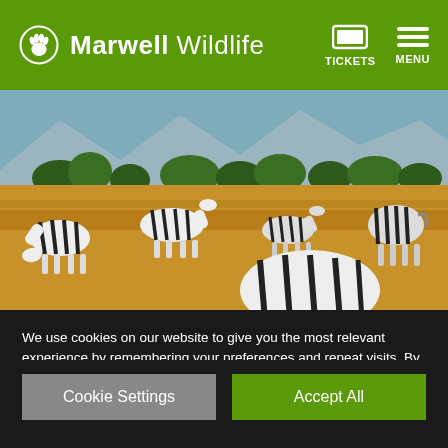Marwell Wildlife — TICKETS — MENU
[Figure (photo): Zebras grazing on golden savanna grassland with trees and mountains in the background under a blue sky]
We use cookies on our website to give you the most relevant experience by remembering your preferences and repeat visits. By clicking "Accept All", you consent to the use of ALL the cookies. However, you may visit "Cookie Settings" to provide a controlled consent.
Cookie Settings | Accept All